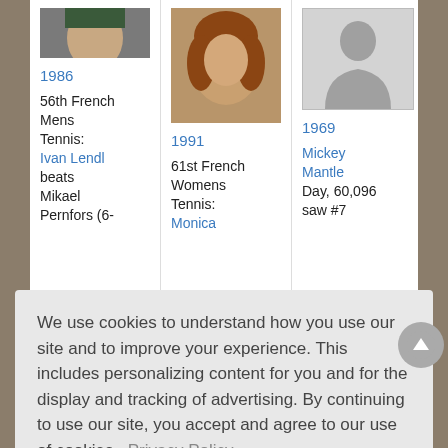[Figure (photo): Photo of a man, partially visible at top of column 1]
1986
56th French Mens Tennis: Ivan Lendl beats Mikael Pernfors (6-
[Figure (photo): Photo of a woman with shoulder-length hair, smiling]
1991
61st French Womens Tennis: Monica
[Figure (photo): Placeholder silhouette image]
1969
Mickey Mantle Day, 60,096 saw #7
We use cookies to understand how you use our site and to improve your experience. This includes personalizing content for you and for the display and tracking of advertising. By continuing to use our site, you accept and agree to our use of cookies.  Privacy Policy
Got it!
Alan